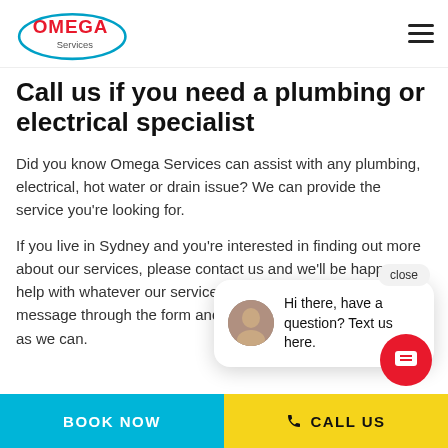[Figure (logo): Omega Services logo with red text and blue oval ellipse outline]
Call us if you need a plumbing or electrical specialist
Did you know Omega Services can assist with any plumbing, electrical, hot water or drain issue? We can provide the service you're looking for.
If you live in Sydney and you're interested in finding out more about our services, please contact us and we'll be happy to help with whatever our services you need. You can send us a message through the form and we'll get back to you as soon as we can.
[Figure (screenshot): Chat widget popup with avatar photo of woman, text: Hi there, have a question? Text us here. Close button at top right.]
BOOK NOW   CALL US